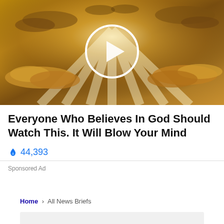[Figure (photo): A dramatic sky with sunbeams shining through clouds, with a white circular play button overlay in the center indicating a video thumbnail.]
Everyone Who Believes In God Should Watch This. It Will Blow Your Mind
🔥 44,393
Sponsored Ad
Home > All News Briefs